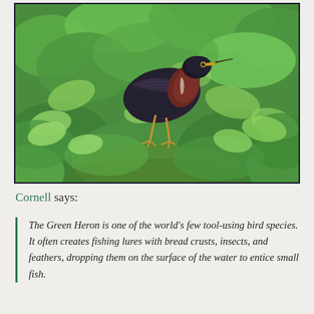[Figure (photo): A Green Heron bird standing among dense green bushes and foliage. The bird has dark greenish-black plumage on its back, a chestnut-colored neck, yellow eyes, and orange-yellow legs. It is perched amid bright green leaves.]
Cornell says:
The Green Heron is one of the world's few tool-using bird species. It often creates fishing lures with bread crusts, insects, and feathers, dropping them on the surface of the water to entice small fish.